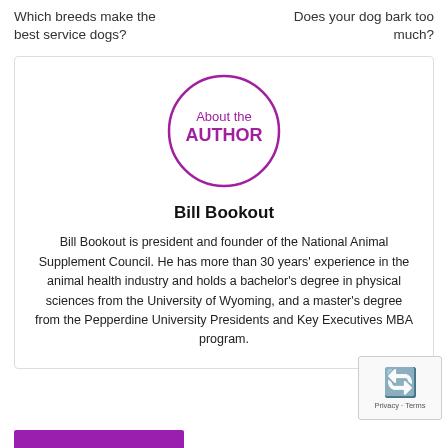Which breeds make the best service dogs?
Does your dog bark too much?
[Figure (logo): Circular badge with text 'About the AUTHOR' in purple]
Bill Bookout
Bill Bookout is president and founder of the National Animal Supplement Council. He has more than 30 years' experience in the animal health industry and holds a bachelor's degree in physical sciences from the University of Wyoming, and a master's degree from the Pepperdine University Presidents and Key Executives MBA program.